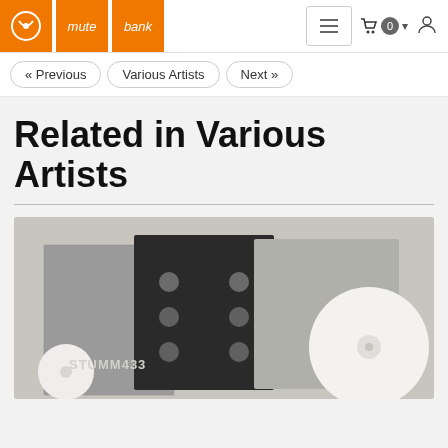[Figure (logo): Mute Records logo with orange squares: symbol, 'mute', 'bank' text labels]
Navigation header with hamburger menu, cart (0), and user icon
« Previous   Various Artists   Next »
Related in Various Artists
[Figure (photo): Photo of a vinyl record box set labeled STUMM433, showing grey and black album sleeves with circular holes pattern and a white vinyl record]